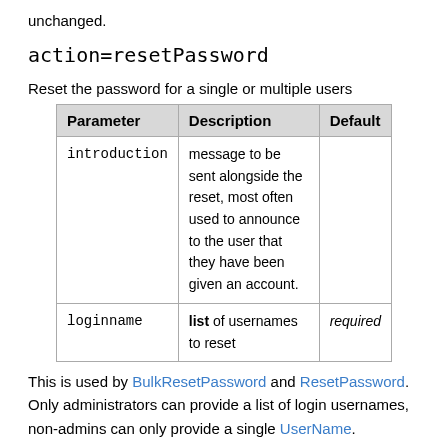unchanged.
action=resetPassword
Reset the password for a single or multiple users
| Parameter | Description | Default |
| --- | --- | --- |
| introduction | message to be sent alongside the reset, most often used to announce to the user that they have been given an account. |  |
| loginname | list of usernames to reset | required |
This is used by BulkResetPassword and ResetPassword. Only administrators can provide a list of login usernames, non-admins can only provide a single UserName.
BulkRegistration provides the means to create multiple accounts but it does not announce those accounts to the users who own them. BulkResetPassword is used to assign the passwords, the Introduction is used to explain why they are